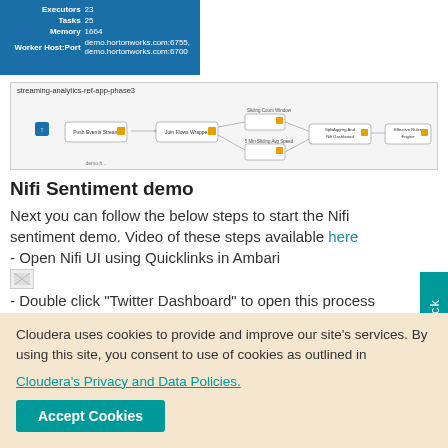| Executors | 23 |
| Tasks | 25 |
| Memory | 1664 |
| Worker Host:Port | demo.hortonworks.com:6755, demo.hortonworks.com:6700 |
[Figure (screenshot): NiFi streaming analytics workflow diagram labeled 'streaming-analytics-ref-app-phase3' showing connected process nodes]
Nifi Sentiment demo
Next you can follow the below steps to start the Nifi sentiment demo. Video of these steps available here
- Open Nifi UI using Quicklinks in Ambari
[Figure (screenshot): Broken image placeholder]
- Double click "Twitter Dashboard" to open this process
Cloudera uses cookies to provide and improve our site's services. By using this site, you consent to use of cookies as outlined in Cloudera's Privacy and Data Policies.